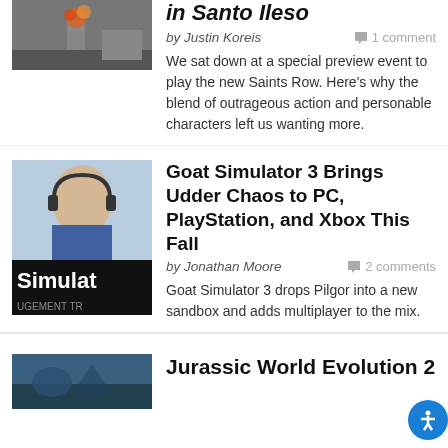[Figure (photo): Action scene with fire and explosion in a city street]
in Santo Ileso
by Justin Koreis
1 comment
We sat down at a special preview event to play the new Saints Row. Here's why the blend of outrageous action and personable characters left us wanting more.
[Figure (photo): Goat Simulator 3 game cover with man wearing headphones and 'Simulate' text]
Goat Simulator 3 Brings Udder Chaos to PC, PlayStation, and Xbox This Fall
by Jonathan Moore
2 comments
Goat Simulator 3 drops Pilgor into a new sandbox and adds multiplayer to the mix.
[Figure (photo): Jurassic World Evolution 2 screenshot]
Jurassic World Evolution 2